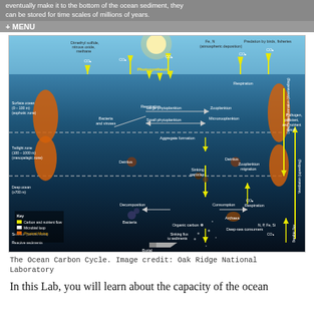eventually make it to the bottom of the ocean sediment, they can be stored for time scales of millions of years.
[Figure (infographic): Diagram of the Ocean Carbon Cycle showing carbon and nutrient flows between the surface ocean (euphotic zone, 0-100m), twilight zone (100-1000m, mesopelagic zone), deep ocean (>700m), and seafloor (benthic zone). Shows processes including photosynthesis, respiration, decomposition, consumption, aggregate formation, sinking particles, burial, and reactive sediments. Key organisms labeled include bacteria and viruses, large phytoplankton, zooplankton, small phytoplankton, microzooplankton, detritus, archaea, and deep-sea consumers. Also shows atmospheric inputs (CO2, Fe, N deposition), dimethyl sulfide/nitrous oxide/methane emissions, deep water formation/downwelling, ventilation/upwelling, and benthic flux. Key legend shows yellow=carbon and nutrient flow, white=microbial loop, orange=physical mixing.]
The Ocean Carbon Cycle. Image credit: Oak Ridge National Laboratory
In this Lab, you will learn about the capacity of the ocean